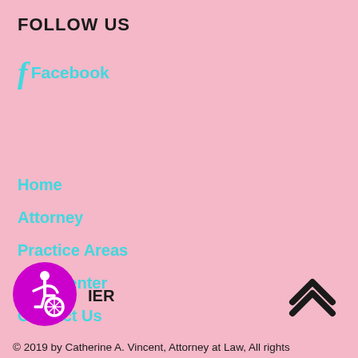FOLLOW US
Facebook
Home
Attorney
Practice Areas
Help Center
Contact Us
[Figure (logo): Purple circular accessibility icon with wheelchair user symbol]
IER
[Figure (other): Dark double chevron/up arrow icon]
© 2019 by Catherine A. Vincent, Attorney at Law, All rights